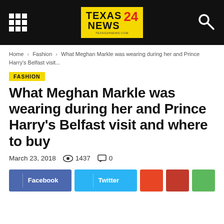Texas 24 News
Home › Fashion › What Meghan Markle was wearing during her and Prince Harry's Belfast visit...
FASHION
What Meghan Markle was wearing during her and Prince Harry's Belfast visit and where to buy
March 23, 2018   1437   0